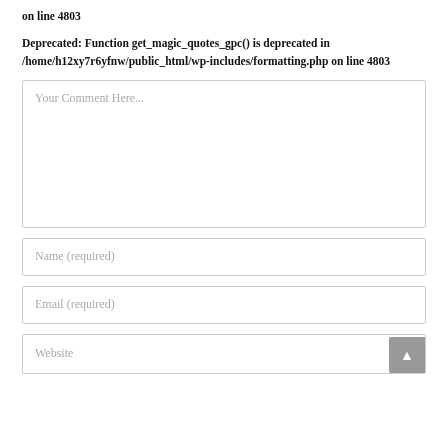on line 4803
Deprecated: Function get_magic_quotes_gpc() is deprecated in /home/h12xy7r6yfnw/public_html/wp-includes/formatting.php on line 4803
Your Comment Here...
Name (required)
Email (required)
Website